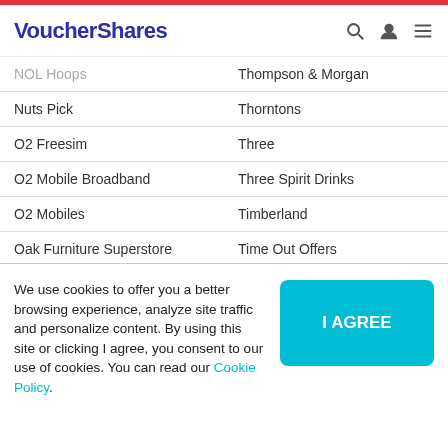VoucherShares
NOL Hoops
Nuts Pick
O2 Freesim
O2 Mobile Broadband
O2 Mobiles
Oak Furniture Superstore
OddBalls
Office Shoes
Olivia's
One Pound Sweets
Thompson & Morgan
Thorntons
Three
Three Spirit Drinks
Timberland
Time Out Offers
Tiqets UK
TOFFS
Tog24
Tokyo Laundry
We use cookies to offer you a better browsing experience, analyze site traffic and personalize content. By using this site or clicking I agree, you consent to our use of cookies. You can read our Cookie Policy.